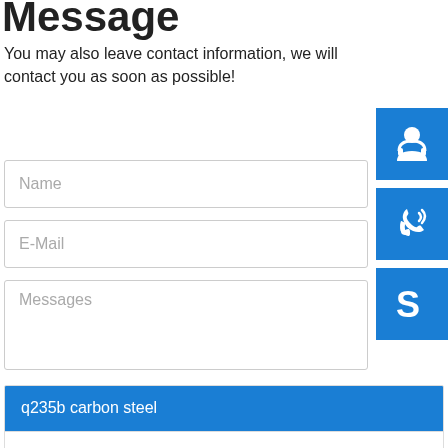Message
You may also leave contact information, we will contact you as soon as possible!
[Figure (illustration): Blue square icon with white customer support headset/person silhouette]
[Figure (illustration): Blue square icon with white phone with signal waves]
[Figure (illustration): Blue square icon with white Skype logo S]
Name
E-Mail
Messages
Send Message
q235b carbon steel
weathering resistant board plate used for advertising board